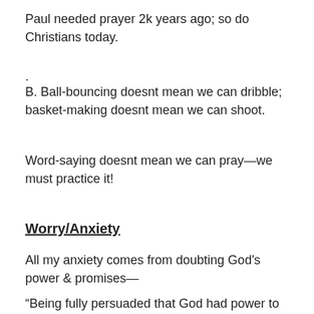Paul needed prayer 2k years ago; so do Christians today.
.
B. Ball-bouncing doesnt mean we can dribble; basket-making doesnt mean we can shoot.
Word-saying doesnt mean we can pray—we must practice it!
Worry/Anxiety
All my anxiety comes from doubting God's power & promises—
“Being fully persuaded that God had power to do what He had promised” (Romans 4:21).